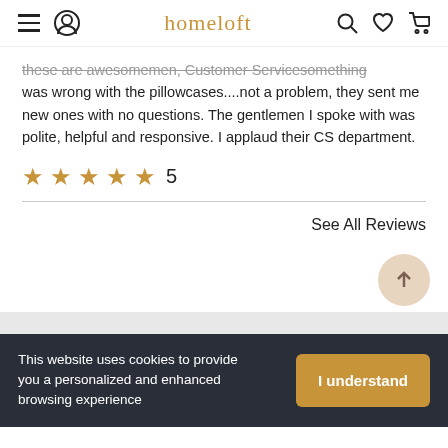homeloft
these are awesomemen, Customer Servicesomething was wrong with the pillowcases....not a problem, they sent me new ones with no questions. The gentlemen I spoke with was polite, helpful and responsive. I applaud their CS department.
★★★★★ 5
See All Reviews
This website uses cookies to provide you a personalized and enhanced browsing experience